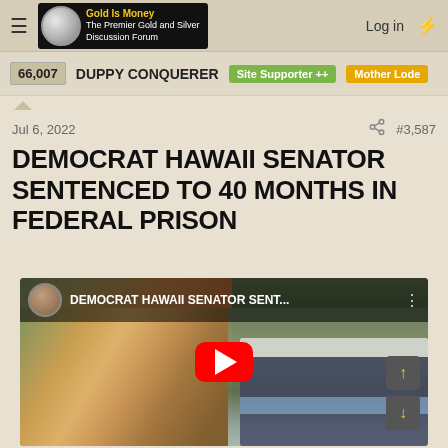Gold Is Money — The Premier Gold and Silver Discussion Forum | Log in
66,007  DUPPY CONQUERER  Site Supporter ++  Mother Lode
Jul 6, 2022  #3,587
DEMOCRAT HAWAII SENATOR SENTENCED TO 40 MONTHS IN FEDERAL PRISON
[Figure (screenshot): YouTube video thumbnail for 'DEMOCRAT HAWAII SENATOR SENT...' showing composite images of people on the left and a masked man in a suit on the right, with a red YouTube play button in the center.]